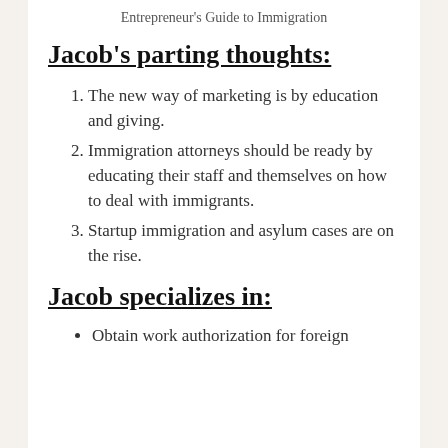Entrepreneur's Guide to Immigration
Jacob's parting thoughts:
The new way of marketing is by education and giving.
Immigration attorneys should be ready by educating their staff and themselves on how to deal with immigrants.
Startup immigration and asylum cases are on the rise.
Jacob specializes in:
Obtain work authorization for foreign